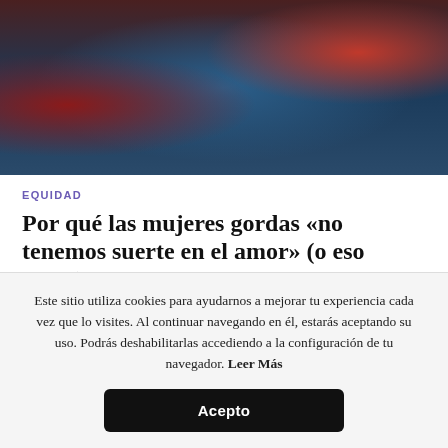[Figure (photo): A person in a motorcycle workshop or garage setting with a red helmet and red upholstered seat visible in the background]
EQUIDAD
Por qué las mujeres gordas «no tenemos suerte en el amor» (o eso dicen)
MONTSERRAT ARCOS - 22 ABRIL, 2022
Este sitio utiliza cookies para ayudarnos a mejorar tu experiencia cada vez que lo visites. Al continuar navegando en él, estarás aceptando su uso. Podrás deshabilitarlas accediendo a la configuración de tu navegador. Leer Más
Acepto